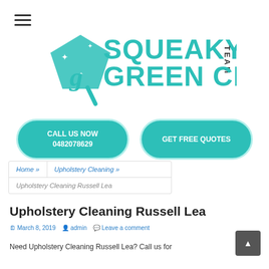[Figure (logo): Squeaky Green Clean Team logo with teal broom/iron icon and teal text]
CALL US NOW 0482078629
GET FREE QUOTES
Home » Upholstery Cleaning » Upholstery Cleaning Russell Lea
Upholstery Cleaning Russell Lea
March 8, 2019   admin   Leave a comment
Need Upholstery Cleaning Russell Lea? Call us for